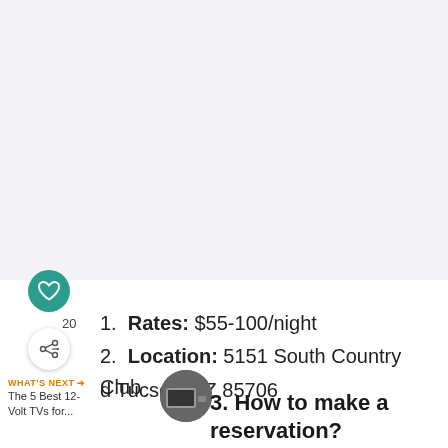[Figure (other): Large light gray empty area at top of page, likely an image placeholder]
1. Rates: $55-100/night
2. Location: 5151 South Country Club
d Tucson, AZ 85706
3. How to make a reservation?